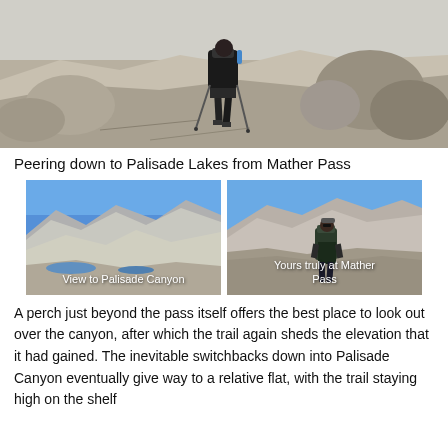[Figure (photo): Hiker with backpack and trekking poles walking across rocky granite terrain, viewed from behind, with large boulders and rocky landscape around them.]
Peering down to Palisade Lakes from Mather Pass
[Figure (photo): View to Palisade Canyon — wide mountain panorama with blue sky, rocky peaks, and mountain lakes visible in the valley below.]
[Figure (photo): Yours truly at Mather Pass — hiker with backpack standing at a high mountain pass with rocky peaks in the background.]
A perch just beyond the pass itself offers the best place to look out over the canyon, after which the trail again sheds the elevation that it had gained. The inevitable switchbacks down into Palisade Canyon eventually give way to a relative flat, with the trail staying high on the shelf